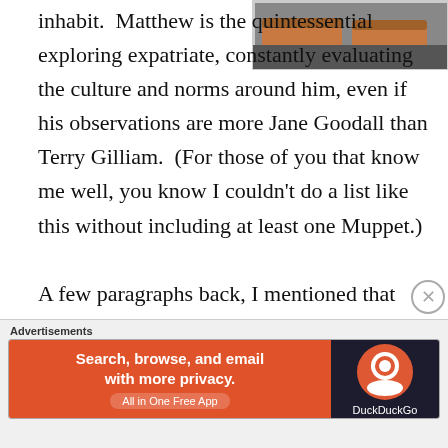[Figure (photo): Partial photo in top right corner showing what appears to be orange/tan shoes or sandals on dark ground.]
inhabit.  Matthew is the quintessential exploring expatriate, constantly evaluating the culture and norms around him, even if his observations are more Jane Goodall than Terry Gilliam.  (For those of you that know me well, you know I couldn't do a list like this without including at least one Muppet.)
A few paragraphs back, I mentioned that Worf isn't an expatriate, and that he falls into a different category than the rest of this list.  That category is
[Figure (other): Advertisement banner for DuckDuckGo: 'Search, browse, and email with more privacy. All in One Free App' on orange background with DuckDuckGo logo on dark right panel.]